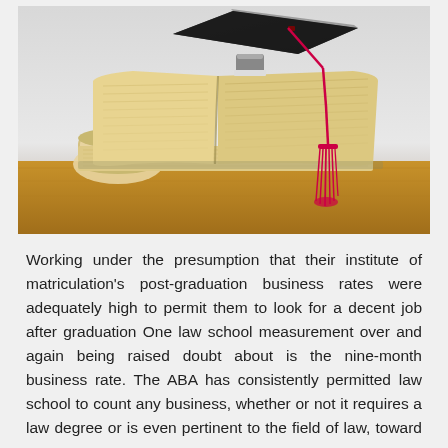[Figure (photo): A graduation mortarboard cap with a red tassel resting on top of stacked open books, alongside a rolled diploma scroll, placed on a wooden surface.]
Working under the presumption that their institute of matriculation's post-graduation business rates were adequately high to permit them to look for a decent job after graduation One law school measurement over and again being raised doubt about is the nine-month business rate. The ABA has consistently permitted law school to count any business, whether or not it requires a law degree or is even pertinent to the field of law, toward a